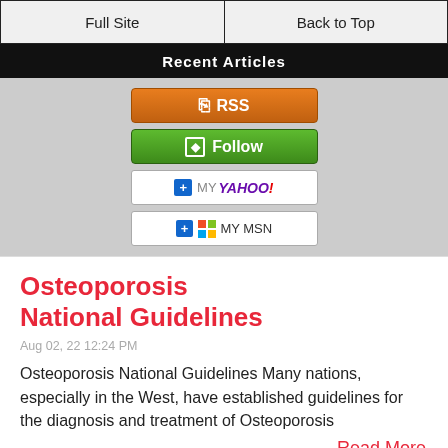Full Site | Back to Top
Recent Articles
[Figure (infographic): RSS, Follow, My Yahoo!, My MSN subscription buttons on gray background]
Osteoporosis National Guidelines
Aug 02, 22 12:24 PM
Osteoporosis National Guidelines Many nations, especially in the West, have established guidelines for the diagnosis and treatment of Osteoporosis
Read More